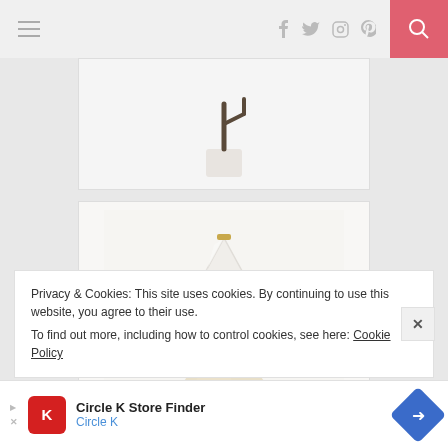Navigation bar with hamburger menu, social icons (f, twitter, instagram, pinterest), and search button
[Figure (photo): Partial product image (cropped at top) showing a small white pot with a cactus branch on a white background]
[Figure (photo): Table lamp with large white conical lampshade and round textured beige/cream ceramic base with brass fitting, on white background]
Privacy & Cookies: This site uses cookies. By continuing to use this website, you agree to their use.
To find out more, including how to control cookies, see here: Cookie Policy
Circle K Store Finder
Circle K